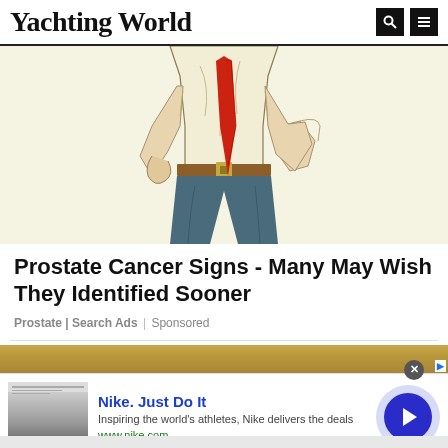Yachting World
[Figure (illustration): Comic-style illustration of a man in a white shirt and blue pants wearing a red tie, shown from chest to knees, walking with a clenched fist.]
Prostate Cancer Signs - Many May Wish They Identified Sooner
Prostate | Search Ads | Sponsored
[Figure (photo): Golden/bronze colored banner advertisement area at the top, followed by a Nike advertisement showing a thumbnail image with Nike branding, title 'Nike. Just Do It', description 'Inspiring the world's athletes, Nike delivers the deals', URL 'www.nike.com', and a blue circular arrow button on the right.]